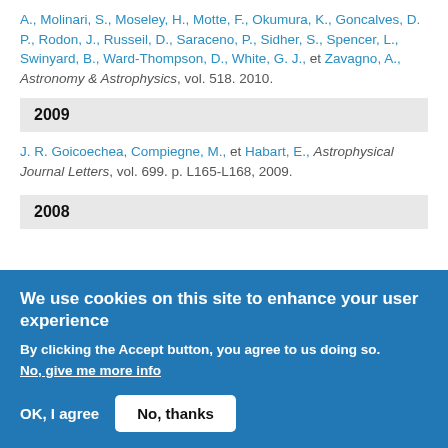A., Molinari, S., Moseley, H., Motte, F., Okumura, K., Goncalves, D. P., Rodon, J., Russeil, D., Saraceno, P., Sidher, S., Spencer, L., Swinyard, B., Ward-Thompson, D., White, G. J., et Zavagno, A., Astronomy & Astrophysics, vol. 518. 2010.
2009
J. R. Goicoechea, Compiegne, M., et Habart, E., Astrophysical Journal Letters, vol. 699. p. L165-L168, 2009.
2008
We use cookies on this site to enhance your user experience
By clicking the Accept button, you agree to us doing so. No, give me more info